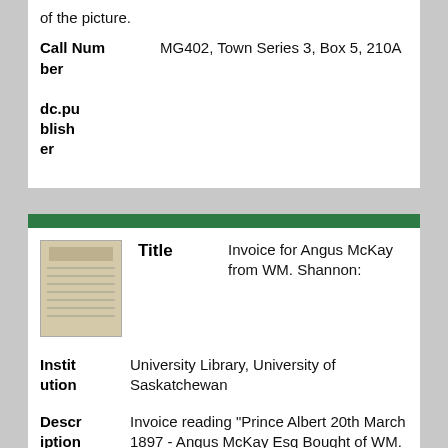of the picture.
| Field | Value |
| --- | --- |
| Call Number | MG402, Town Series 3, Box 5, 210A |
| dc.publisher |  |
| Field | Value |
| --- | --- |
| Title | Invoice for Angus McKay from WM. Shannon: |
| Institution | University Library, University of Saskatchewan |
| Description | Invoice reading "Prince Albert 20th March 1897 - Angus McKay Esq Bought of WM. Shannon, Boots |